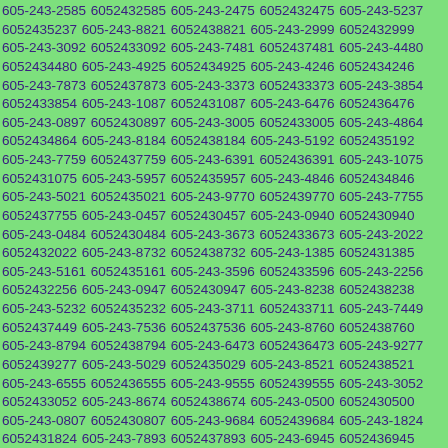605-243-2585 6052432585 605-243-2475 6052432475 605-243-5237 6052435237 605-243-8821 6052438821 605-243-2999 6052432999 605-243-3092 6052433092 605-243-7481 6052437481 605-243-4480 6052434480 605-243-4925 6052434925 605-243-4246 6052434246 605-243-7873 6052437873 605-243-3373 6052433373 605-243-3854 6052433854 605-243-1087 6052431087 605-243-6476 6052436476 605-243-0897 6052430897 605-243-3005 6052433005 605-243-4864 6052434864 605-243-8184 6052438184 605-243-5192 6052435192 605-243-7759 6052437759 605-243-6391 6052436391 605-243-1075 6052431075 605-243-5957 6052435957 605-243-4846 6052434846 605-243-5021 6052435021 605-243-9770 6052439770 605-243-7755 6052437755 605-243-0457 6052430457 605-243-0940 6052430940 605-243-0484 6052430484 605-243-3673 6052433673 605-243-2022 6052432022 605-243-8732 6052438732 605-243-1385 6052431385 605-243-5161 6052435161 605-243-3596 6052433596 605-243-2256 6052432256 605-243-0947 6052430947 605-243-8238 6052438238 605-243-5232 6052435232 605-243-3711 6052433711 605-243-7449 6052437449 605-243-7536 6052437536 605-243-8760 6052438760 605-243-8794 6052438794 605-243-6473 6052436473 605-243-9277 6052439277 605-243-5029 6052435029 605-243-8521 6052438521 605-243-6555 6052436555 605-243-9555 6052439555 605-243-3052 6052433052 605-243-8674 6052438674 605-243-0500 6052430500 605-243-0807 6052430807 605-243-9684 6052439684 605-243-1824 6052431824 605-243-7893 6052437893 605-243-6945 6052436945 605-243-0088 6052430088 605-243-3405 6052433405 605-243-6564